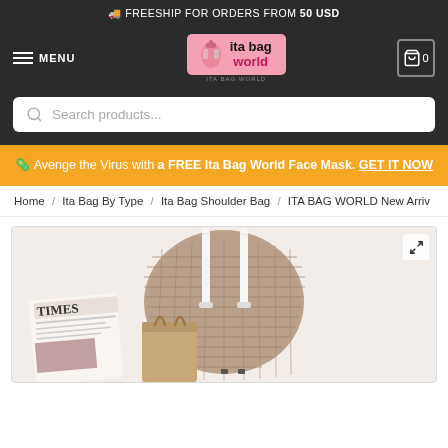🚚 FREESHIP FOR ORDERS FROM 50 USD
[Figure (logo): Ita Bag World logo with pink backpack icon]
[Figure (screenshot): Search bar with placeholder text 'Search products...']
🦠 Avenge the Virus with a FREE Ita Bag World Face Mask. GET IT NOW
Home / Ita Bag By Type / Ita Bag Shoulder Bag / ITA BAG WORLD New Arriv
[Figure (photo): Product photo of a woven ita bag shoulder bag with white straps, displayed with a TIMES newspaper and a brown paper bag]